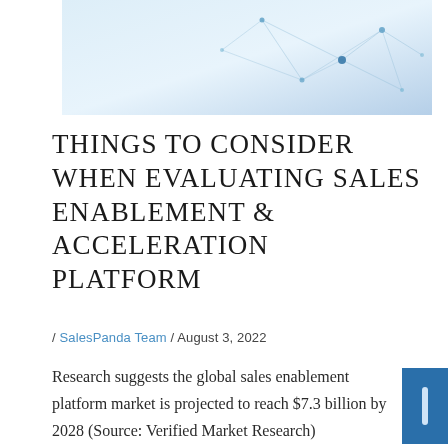[Figure (illustration): Light blue network/connection diagram illustration with nodes and lines on a white-to-light-blue gradient background]
THINGS TO CONSIDER WHEN EVALUATING SALES ENABLEMENT & ACCELERATION PLATFORM
/ SalesPanda Team / August 3, 2022
Research suggests the global sales enablement platform market is projected to reach $7.3 billion by 2028 (Source: Verified Market Research)